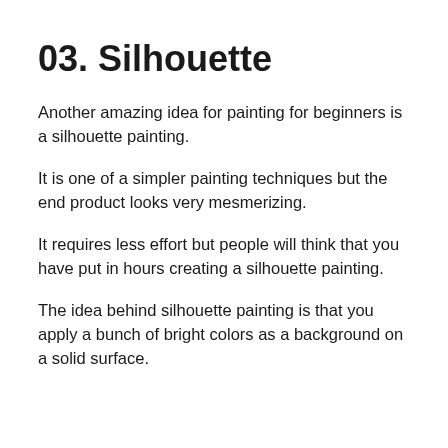03. Silhouette
Another amazing idea for painting for beginners is a silhouette painting.
It is one of a simpler painting techniques but the end product looks very mesmerizing.
It requires less effort but people will think that you have put in hours creating a silhouette painting.
The idea behind silhouette painting is that you apply a bunch of bright colors as a background on a solid surface.